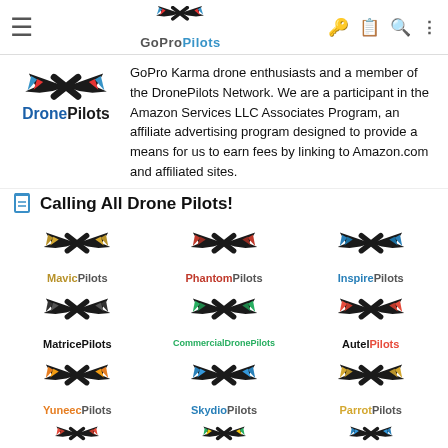GoProPilots navigation bar
[Figure (logo): DronePilots logo with stylized X and wings]
GoPro Karma drone enthusiasts and a member of the DronePilots Network. We are a participant in the Amazon Services LLC Associates Program, an affiliate advertising program designed to provide a means for us to earn fees by linking to Amazon.com and affiliated sites.
Calling All Drone Pilots!
[Figure (logo): Grid of drone pilot community logos: MavicPilots, PhantomPilots, InspirePilots, MatricePilots, CommercialDronePilots, AutelPilots, YuneecPilots, SkydioPilots, ParrotPilots, and partial row]